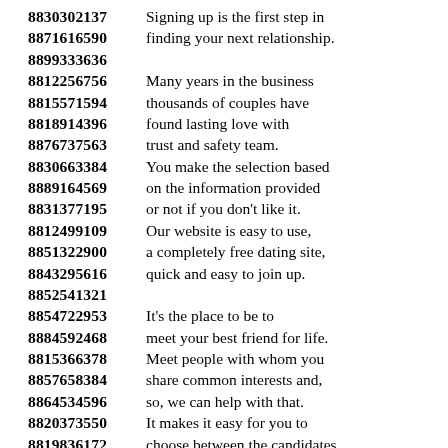8830302137  Signing up is the first step in
8871616590  finding your next relationship.
8899333636
8812256756  Many years in the business
8815571594  thousands of couples have
8818914396  found lasting love with
8876737563  trust and safety team.
8830663384  You make the selection based
8889164569  on the information provided
8831377195  or not if you don't like it.
8812499109  Our website is easy to use,
8851322900  a completely free dating site,
8843295616  quick and easy to join up.
8852541321
8854722953  It's the place to be to
8884592468  meet your best friend for life.
8815366378  Meet people with whom you
8857658384  share common interests and,
8864534596  so, we can help with that.
8820373550  It makes it easy for you to
8819836172  choose between the candidates
8823148632  with the potential to become
8856316338  your dreams and fantasies.
8818227269
8871524604  Fast track your journey to